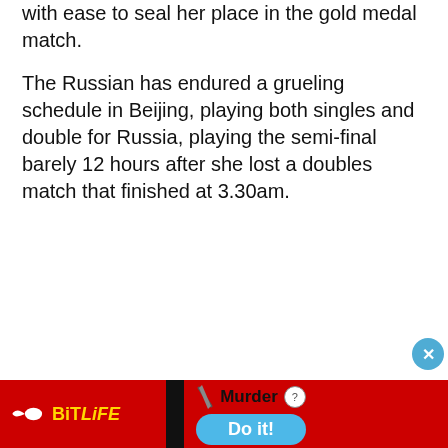with ease to seal her place in the gold medal match.
The Russian has endured a grueling schedule in Beijing, playing both singles and double for Russia, playing the semi-final barely 12 hours after she lost a doubles match that finished at 3.30am.
[Figure (screenshot): Advertisement banner with teal background reading 'Say goodbye to...' with a wave graphic at bottom, and a close button (X) in upper right corner.]
[Figure (screenshot): Bottom advertisement bar: BitLife logo on red background on left. Center shows a knife/dagger icon with 'Murder' text and a blue 'Do it!' button. A black block and question mark circle are also visible. A 'TOP' navigation button with up arrow is in the bottom-right.]